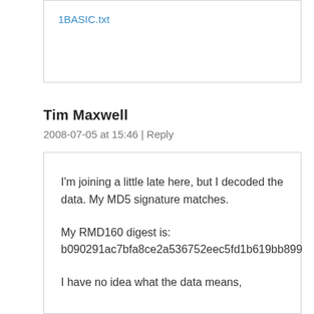1BASIC.txt
Tim Maxwell
2008-07-05 at 15:46 | Reply
I'm joining a little late here, but I decoded the data. My MD5 signature matches.

My RMD160 digest is: b090291ac7bfa8ce2a536752eec5fd1b619bb899

I have no idea what the data means,